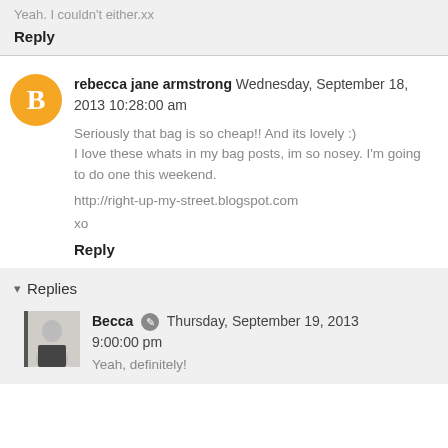Yeah. I couldn't either.xx
Reply
rebecca jane armstrong  Wednesday, September 18, 2013 10:28:00 am
Seriously that bag is so cheap!! And its lovely :)
I love these whats in my bag posts, im so nosey. I'm going to do one this weekend.
http://right-up-my-street.blogspot.com
xo
Reply
Replies
Becca  Thursday, September 19, 2013 9:00:00 pm
Yeah, definitely!